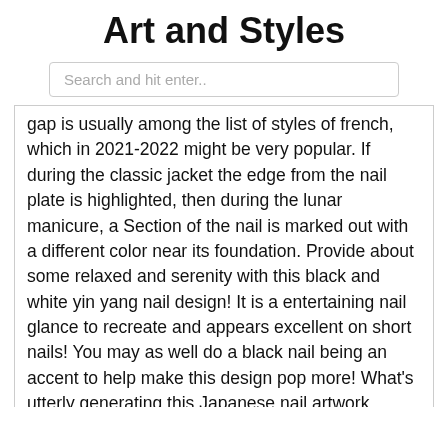Art and Styles
Search and hit enter..
gap is usually among the list of styles of french, which in 2021-2022 might be very popular. If during the classic jacket the edge from the nail plate is highlighted, then during the lunar manicure, a Section of the nail is marked out with a different color near its foundation. Provide about some relaxed and serenity with this black and white yin yang nail design! It is a entertaining nail glance to recreate and appears excellent on short nails! You may as well do a black nail being an accent to help make this design pop more! What's utterly generating this Japanese nail artwork design stick out through the rest may be the amazing depiction of coconut trees painted on it. Nothing beats the basic black and white themed nail artwork. You could go tasteful yet hip and funky with this enjoyable still satisfying nail art design. The gold beads assistance accentuate the nails and increase glamour to them. The black and white acrylic mixture does an excellent work of making that authentic look. The gold beads just leap out on this a person. Very elegant and chic nail